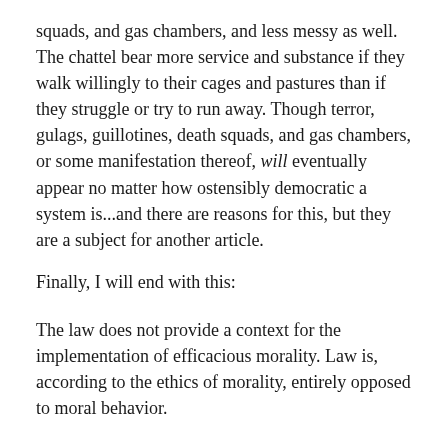squads, and gas chambers, and less messy as well. The chattel bear more service and substance if they walk willingly to their cages and pastures than if they struggle or try to run away. Though terror, gulags, guillotines, death squads, and gas chambers, or some manifestation thereof, will eventually appear no matter how ostensibly democratic a system is...and there are reasons for this, but they are a subject for another article.
Finally, I will end with this:
The law does not provide a context for the implementation of efficacious morality. Law is, according to the ethics of morality, entirely opposed to moral behavior.
In other words, the law is categorically immoral.
END